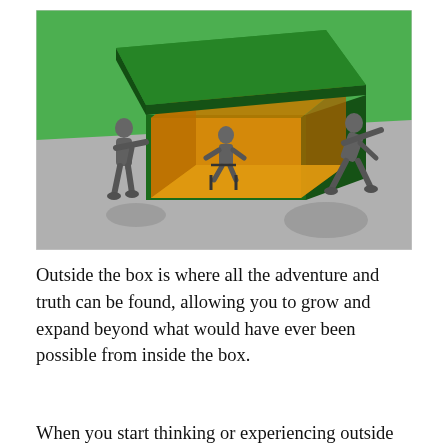[Figure (illustration): 3D illustration of a large open green box with a golden/orange interior. One grey mannequin figure sits inside the box on a chair, while two other grey mannequin figures stand outside the box — one on the left pushing/touching the box, one on the right leaning away. The background is bright green on the upper half and grey floor on the lower half. Shadows are cast on the grey floor.]
Outside the box is where all the adventure and truth can be found, allowing you to grow and expand beyond what would have ever been possible from inside the box.
When you start thinking or experiencing outside the